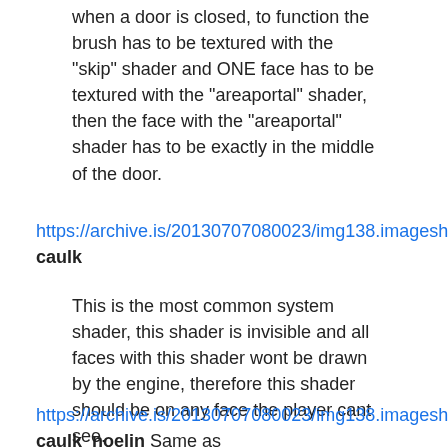when a door is closed, to function the brush has to be textured with the "skip" shader and ONE face has to be textured with the "areaportal" shader, then the face with the "areaportal" shader has to be exactly in the middle of the door.
https://archive.is/20130707080023/img138.imageshack.us/img138/3453/caulkbk5.jpg caulk
This is the most common system shader, this shader is invisible and all faces with this shader wont be drawn by the engine, therefore this shader should be on any face the player cant see.
https://archive.is/20130707080023/img138.imageshack.us/img138/3453/caulkbk5.jpg caulk_noelin Same as